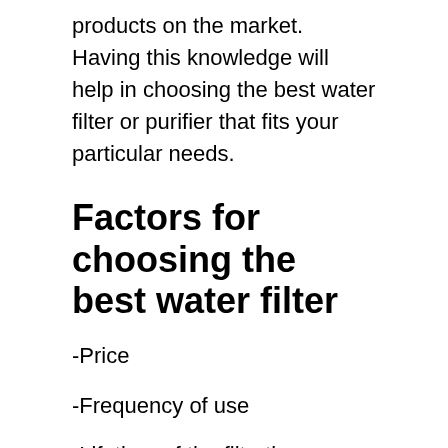products on the market. Having this knowledge will help in choosing the best water filter or purifier that fits your particular needs.
Factors for choosing the best water filter
-Price
-Frequency of use
-Lifetime of the filtration element